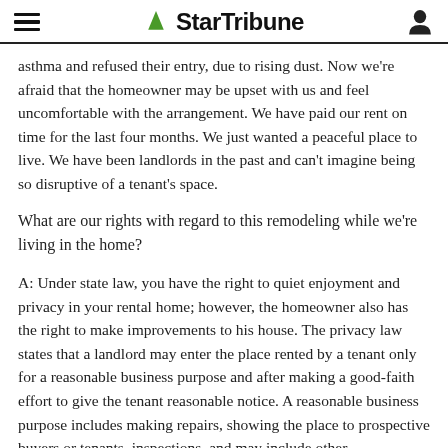StarTribune
asthma and refused their entry, due to rising dust. Now we're afraid that the homeowner may be upset with us and feel uncomfortable with the arrangement. We have paid our rent on time for the last four months. We just wanted a peaceful place to live. We have been landlords in the past and can't imagine being so disruptive of a tenant's space.
What are our rights with regard to this remodeling while we're living in the home?
A: Under state law, you have the right to quiet enjoyment and privacy in your rental home; however, the homeowner also has the right to make improvements to his house. The privacy law states that a landlord may enter the place rented by a tenant only for a reasonable business purpose and after making a good-faith effort to give the tenant reasonable notice. A reasonable business purpose includes making repairs, showing the place to prospective buyers or tenants, inspections, and may include other